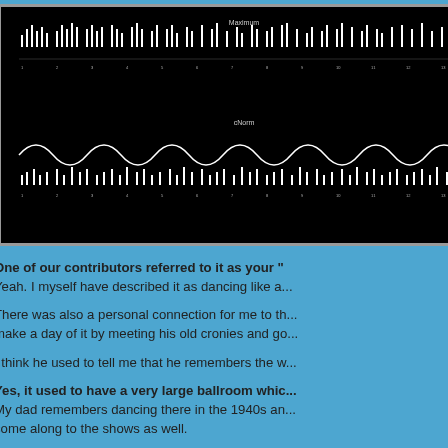[Figure (screenshot): Dark/black background screenshot showing what appears to be audio waveform or music visualization data with small white text labels and white bar/waveform graphics on black background.]
dance off it.
One of our contributors referred to it as your "[...] Yeah. I myself have described it as dancing like a...
There was also a personal connection for me to th... make a day of it by meeting his old cronies and go...
I think he used to tell me that he remembers the w...
Yes, it used to have a very large ballroom whic... My dad remembers dancing there in the 1940s an... come along to the shows as well.
Do you still play concerts in Glasgow? I haven't played live really since 1993. Since the A... good. We also played at the Barrowlands with tha... are talking about the Apollo.
The other great thing about Glasgow is often whe... a synth melody. You'd get the entire audience sing... you out of tune?" because every one was singing ... would be shouting the melody. It sounded really w...
SRH (River Records) have recently unearthed ... the Apollo. Really, that should be interesting. Interestingly eno... would play 2 nights, one in Glasgow and the other...